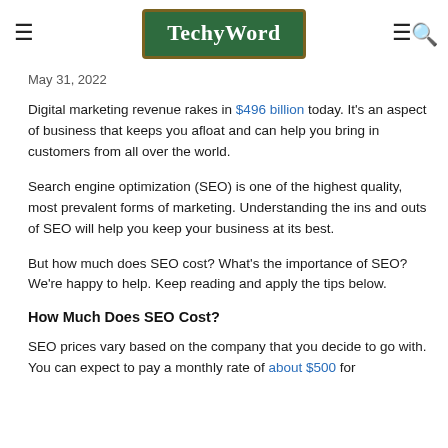TechyWord
May 31, 2022
Digital marketing revenue rakes in $496 billion today. It's an aspect of business that keeps you afloat and can help you bring in customers from all over the world.
Search engine optimization (SEO) is one of the highest quality, most prevalent forms of marketing. Understanding the ins and outs of SEO will help you keep your business at its best.
But how much does SEO cost? What's the importance of SEO? We're happy to help. Keep reading and apply the tips below.
How Much Does SEO Cost?
SEO prices vary based on the company that you decide to go with. You can expect to pay a monthly rate of about $500 for